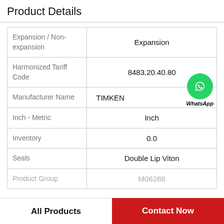Product Details
| Property | Value |
| --- | --- |
| Expansion / Non-expansion | Expansion |
| Harmonized Tariff Code | 8483.20.40.80 |
| Manufacturer Name | TIMKEN |
| Inch - Metric | Inch |
| Inventory | 0.0 |
| Seals | Double Lip Viton |
| Product Group | M06288 |